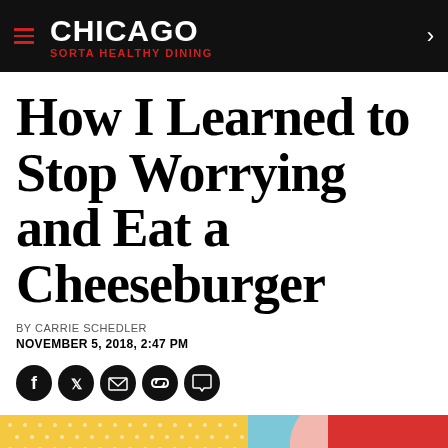CHICAGO SORTA HEALTHY DINING
How I Learned to Stop Worrying and Eat a Cheeseburger
BY CARRIE SCHEDLER
NOVEMBER 5, 2018, 2:47 PM
[Figure (other): Social sharing icons: Facebook, Twitter, Email, Link, Comment]
[Figure (illustration): Colorful illustration with yellow background with white dot pattern, blue section, red section, and pink shape — partial view of cheeseburger illustration]